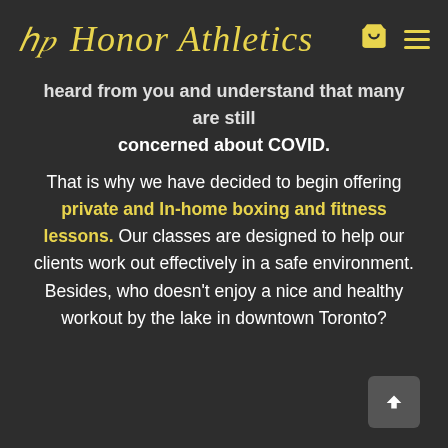[Figure (logo): Honor Athletics script logo in yellow with 'hp' initials, cart icon, and hamburger menu icon on dark background]
heard from you and understand that many are still concerned about COVID.
That is why we have decided to begin offering private and In-home boxing and fitness lessons. Our classes are designed to help our clients work out effectively in a safe environment. Besides, who doesn't enjoy a nice and healthy workout by the lake in downtown Toronto?